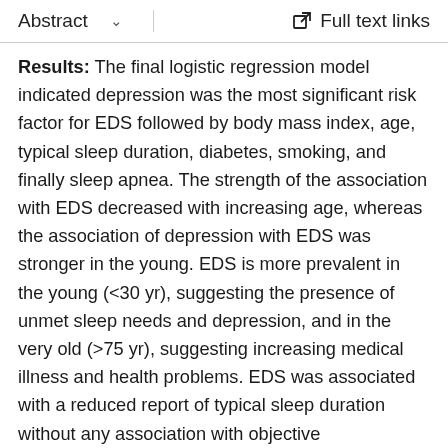Abstract  ∨  Full text links
Results: The final logistic regression model indicated depression was the most significant risk factor for EDS followed by body mass index, age, typical sleep duration, diabetes, smoking, and finally sleep apnea. The strength of the association with EDS decreased with increasing age, whereas the association of depression with EDS was stronger in the young. EDS is more prevalent in the young (<30 yr), suggesting the presence of unmet sleep needs and depression, and in the very old (>75 yr), suggesting increasing medical illness and health problems. EDS was associated with a reduced report of typical sleep duration without any association with objective polysomnographic measures.
Conclusions: It appears that the presence of EDS is more strongly associated with depression and metabolic factors than with sleep-disordered breathing or sleep disruption per se. Our findings suggest that patients with